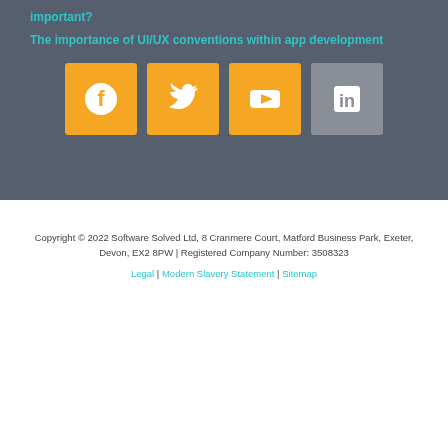important?
The importance of UI/UX conventions within app development
[Figure (other): Four social media icon buttons: Facebook (orange), Twitter (orange), YouTube (orange), LinkedIn (gray)]
Copyright © 2022 Software Solved Ltd, 8 Cranmere Court, Matford Business Park, Exeter, Devon, EX2 8PW | Registered Company Number: 3508323
Legal | Modern Slavery Statement | Sitemap